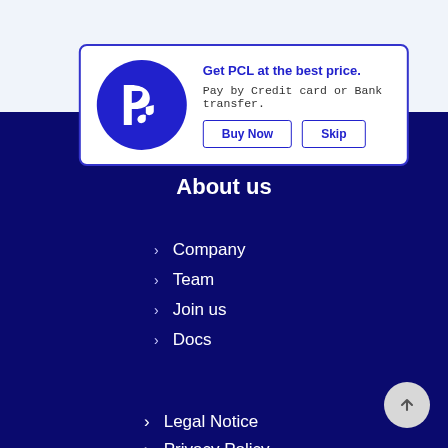[Figure (logo): PCL logo: white stylized P and musical note on dark blue circle inside a promotional card with 'Get PCL at the best price.' text, 'Pay by Credit card or Bank transfer.' subtitle, and Buy Now / Skip buttons]
About us
Company
Team
Join us
Docs
Legal Notice
Privacy Policy